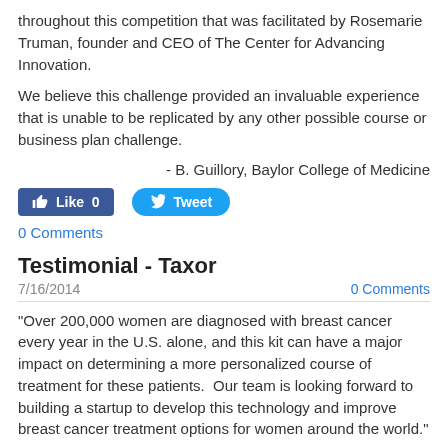throughout this competition that was facilitated by Rosemarie Truman, founder and CEO of The Center for Advancing Innovation.
We believe this challenge provided an invaluable experience that is unable to be replicated by any other possible course or business plan challenge.
- B. Guillory, Baylor College of Medicine
[Figure (other): Social media buttons: Facebook Like (0) and Twitter Tweet]
0 Comments
Testimonial - Taxor
7/16/2014   0 Comments
“Over 200,000 women are diagnosed with breast cancer every year in the U.S. alone, and this kit can have a major impact on determining a more personalized course of treatment for these patients.  Our team is looking forward to building a startup to develop this technology and improve breast cancer treatment options for women around the world.”